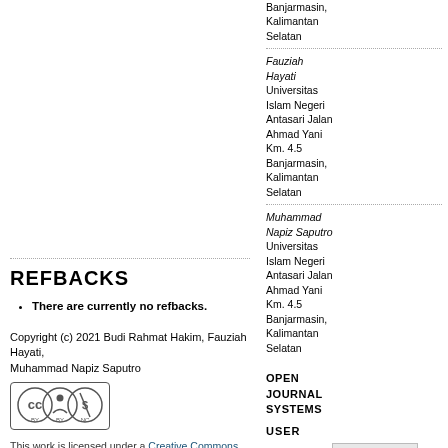Banjarmasin, Kalimantan Selatan
Fauziah Hayati Universitas Islam Negeri Antasari Jalan Ahmad Yani Km. 4.5 Banjarmasin, Kalimantan Selatan
Muhammad Napiz Saputro Universitas Islam Negeri Antasari Jalan Ahmad Yani Km. 4.5 Banjarmasin, Kalimantan Selatan
OPEN JOURNAL SYSTEMS
USER
Username
Password
Remember me
REFBACKS
There are currently no refbacks.
Copyright (c) 2021 Budi Rahmat Hakim, Fauziah Hayati, Muhammad Napiz Saputro
[Figure (logo): Creative Commons Attribution-NonCommercial (CC BY-NC) license logo]
This work is licensed under a Creative Commons Attribution-NonCommercial 4.0 International License.